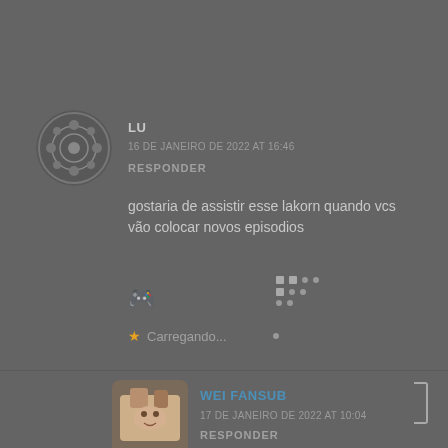[Figure (illustration): User avatar circle with decorative pattern for user LU]
LU
16 DE JANEIRO DE 2022 AT 16:46
RESPONDER
gostaria de assistir esse lakorn quando vcs vão colocar novos episodios
[Figure (infographic): Loading spinner/dot grid animation and emoji icon with star rating loading indicator showing Carregando...]
[Figure (illustration): User avatar with image for user WEI FANSUB]
WEI FANSUB
17 DE JANEIRO DE 2022 AT 10:04
RESPONDER